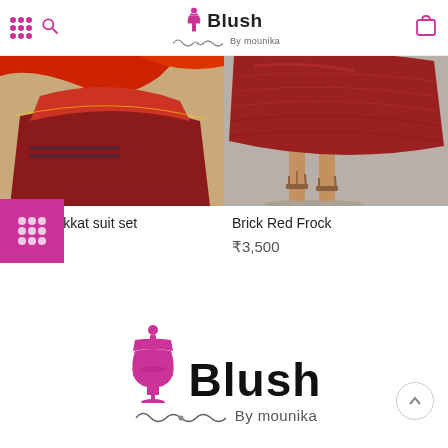Blush By mounika
[Figure (photo): Maroon Ikkat suit set - lower half of model wearing maroon/red ethnic outfit with dupatta]
[Figure (photo): Brick Red Frock - lower half of model wearing brick red frock with strappy heeled sandals]
Maroon Ikkat suit set
₹4,300
Brick Red Frock
₹3,500
[Figure (logo): Blush By mounika logo - large version with pink mannequin dress form icon and decorative swirl]
Blush By mounika